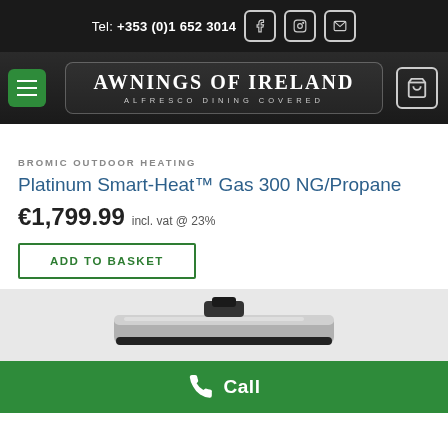Tel: +353 (0)1 652 3014
[Figure (logo): Awnings of Ireland logo — AWNINGS OF IRELAND / ALFRESCO DINING COVERED on dark background with rounded border]
BROMIC OUTDOOR HEATING
Platinum Smart-Heat™ Gas 300 NG/Propane
€1,799.99 incl. vat @ 23%
ADD TO BASKET
[Figure (photo): Bromic Platinum Smart-Heat gas heater product image — sleek flat panel heater in silver/black]
Call